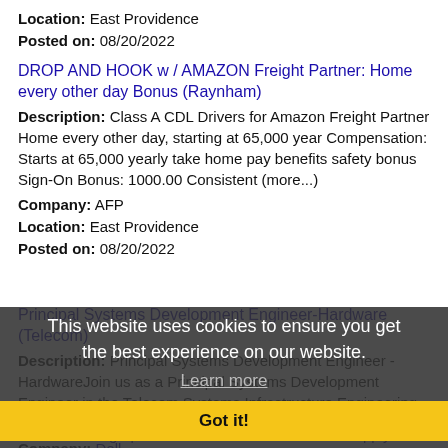Location: East Providence
Posted on: 08/20/2022
DROP AND HOOK w / AMAZON Freight Partner: Home every other day Bonus (Raynham)
Description: Class A CDL Drivers for Amazon Freight Partner Home every other day, starting at 65,000 year Compensation: Starts at 65,000 yearly take home pay benefits safety bonus Sign-On Bonus: 1000.00 Consistent (more...)
Company: AFP
Location: East Providence
Posted on: 08/20/2022
Principal Systems Development Engineer-Hardware (Telecom)
Description: Principal Systems Development Engineer - HardwareJoin us as a Principal Systems Development Engineer in the Telecom Systems Infrastructure Engineering team where you will play a key role in the (more...)
Company: Dell
Location: East Providence
Posted on: 08/20/2022
This website uses cookies to ensure you get the best experience on our website.
Learn more
Got it!
Cardiac Sonographer - Recent Grads Welcome to Apply